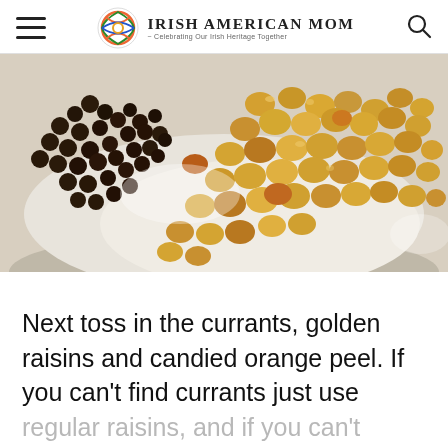Irish American Mom · Celebrating Our Irish Heritage Together
[Figure (photo): Close-up photo of dark currants and golden raisins piled on a white flour surface in a mixing bowl]
Next toss in the currants, golden raisins and candied orange peel. If you can't find currants just use regular raisins, and if you can't